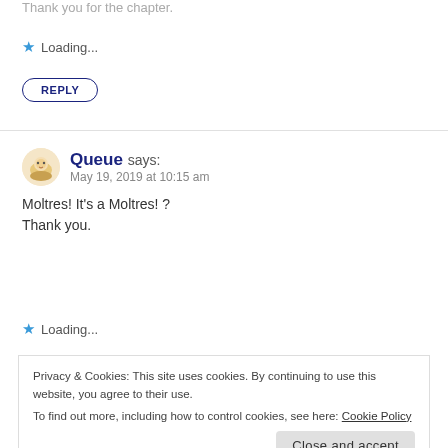Thank you for the chapter.
★ Loading...
REPLY
Queue says:
May 19, 2019 at 10:15 am
Moltres! It's a Moltres! ?
Thank you.
★ Loading...
Privacy & Cookies: This site uses cookies. By continuing to use this website, you agree to their use.
To find out more, including how to control cookies, see here: Cookie Policy
Close and accept